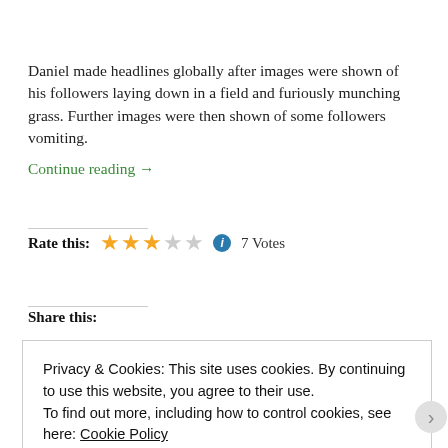Daniel made headlines globally after images were shown of his followers laying down in a field and furiously munching grass. Further images were then shown of some followers vomiting. Continue reading →
Rate this: ★★★☆☆ ℹ 7 Votes
Share this:
Privacy & Cookies: This site uses cookies. By continuing to use this website, you agree to their use. To find out more, including how to control cookies, see here: Cookie Policy
Close and accept